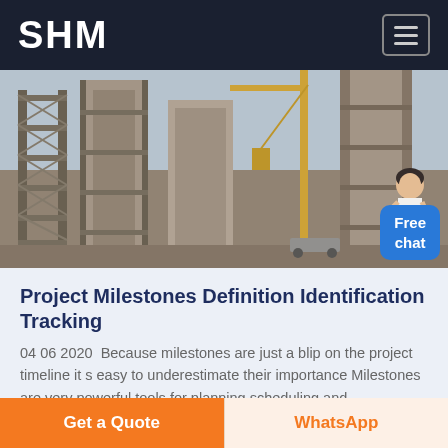SHM
[Figure (photo): Construction site with scaffolding, industrial silos, crane, and a customer service representative figure on the right side. A 'Free chat' button overlay is visible in the bottom right.]
Project Milestones Definition Identification Tracking
04 06 2020  Because milestones are just a blip on the project timeline it s easy to underestimate their importance Milestones are very powerful tools for planning scheduling and
Get a Quote  WhatsApp